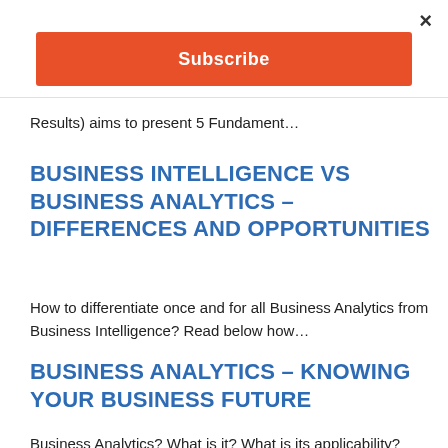×
Subscribe
Results) aims to present 5 Fundament…
BUSINESS INTELLIGENCE VS BUSINESS ANALYTICS – DIFFERENCES AND OPPORTUNITIES
How to differentiate once and for all Business Analytics from Business Intelligence? Read below how…
BUSINESS ANALYTICS – KNOWING YOUR BUSINESS FUTURE
Business Analytics? What is it? What is its applicability? Learn